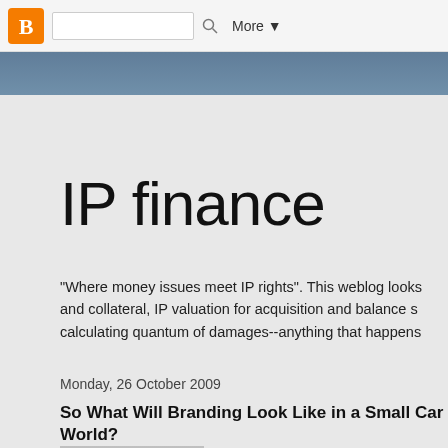Blogger | More ▼
IP finance
"Where money issues meet IP rights". This weblog looks and collateral, IP valuation for acquisition and balance s calculating quantum of damages--anything that happens
Monday, 26 October 2009
So What Will Branding Look Like in a Small Car World?
[Figure (photo): Photo of a dark brown/bronze Audi SUV/crossover vehicle on a light gray background]
One of the most interesting aspects of trade ma practice is to deal with the relationship between trade marks and brands. When I had the pleasu to speak last July in India on branding, I dutifully